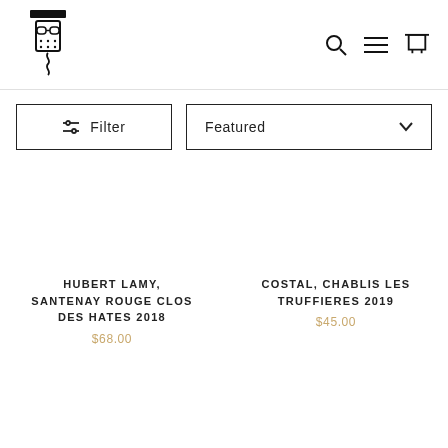Wine shop logo with corkscrew illustration, search, menu and cart icons
Filter
Featured
HUBERT LAMY, SANTENAY ROUGE CLOS DES HATES 2018
$68.00
COSTAL, CHABLIS LES TRUFFIERES 2019
$45.00